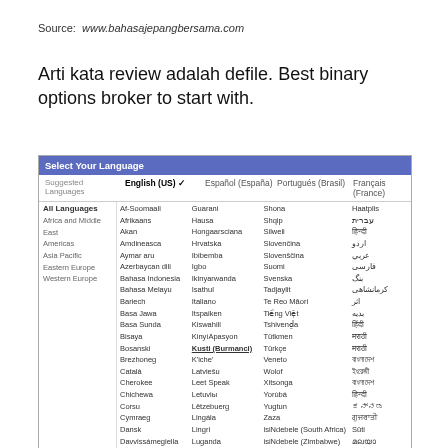Source: www.bahasajepangbersama.com
Arti kata review adalah defile. Best binary options broker to start with.
| Suggested Languages | English (US) ✓ | Español (España) | Portugués (Brasil) | Français (France) |
| --- | --- | --- | --- | --- |
| All Languages | Af-Soomaali | Guarani | Shona | Haatplis |
| Africa and Middle East | Afrikaans | Hausa | Shqip | עברית |
| Americas | Akan | Hongaarsciana | Silweli | हिन्दी |
| Asia Pacific | Amdineasca | Hrvatska | Slovenčina | اردو |
| Eastern Europe | Aymar aru | Ibibemba | Slovenščina | عربي |
| Western Europe | Azerbaycan dili | Igbo | Suomi | فارسی |
|  | Bahasa Indonesia | Ikinyarwanda | Svenska | بنگ |
|  | Bahasa Melayu | Isathul | Tadjaylit | کرمانشاهی |
|  | Bariech | Italiano | Te Reo Māori | اثر |
|  | Basa Jawa | Itspaiken | Tiếng Việt | بدیه |
|  | Basa Sunda | Kiswahili | Tshivenḓa | हिंदी |
|  | Bisaya | KinyíApasyon | Tütkmen | मराठी |
|  | Bosanski | Kusti (Burmanci) | Türkçe | मराठी |
|  | Brezhoneg | K'iche' | Veneto | বাংলাদেশ |
|  | Català | Latviešu | Wolof | ইংরেজী |
|  | Cherokee | Leet Speak | Xitsonga | বাংলাদেশ |
|  | Chichewa | Letuviы | Yorùbá | हिन्दी |
|  | Corsu | Lëtzebuerg | Yugtun | ಕನ್ನಡ |
|  | Cymraeg | Lingála | Zaza | ਗੁਜਰਾਤੀ |
|  | Dansk | Lingri | isiNdebele (South Africa) | Sūti |
|  | Davvissámegiella | Luganda | isiNdebele (Zimbabwe) | മലയാ |
|  | Deutsch | Magyar | isiXhosa | दार्जिलिंग |
|  | Dolnoserbšćina | Malagasy | isiZulu | বাংলা |
|  | Eesti | Malti | Lingua latina | ဗမႀÀဂc |